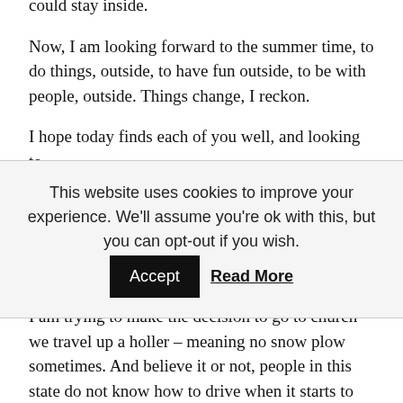could stay inside.

Now, I am looking forward to the summer time, to do things, outside, to have fun outside, to be with people, outside. Things change, I reckon.

I hope today finds each of you well, and looking to
This website uses cookies to improve your experience. We'll assume you're ok with this, but you can opt-out if you wish. [Accept] [Read More]
I am trying to make the decision to go to church – we travel up a holler – meaning no snow plow sometimes. And believe it or not, people in this state do not know how to drive when it starts to snow, or rain, or sunshine.
I would like ...